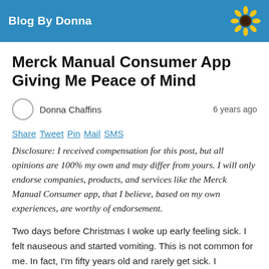Blog By Donna
Merck Manual Consumer App Giving Me Peace of Mind
Donna Chaffins   6 years ago
Share Tweet Pin Mail SMS
Disclosure: I received compensation for this post, but all opinions are 100% my own and may differ from yours. I will only endorse companies, products, and services like the Merck Manual Consumer app, that I believe, based on my own experiences, are worthy of endorsement.
Two days before Christmas I woke up early feeling sick. I felt nauseous and started vomiting. This is not common for me. In fact, I'm fifty years old and rarely get sick. I...